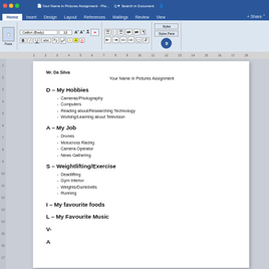Your Name in Pictures Assignment - Microsoft Word
Mr. Da Silva
Your Name in Pictures Assignment
D – My Hobbies
Cameras/Photography
Computers
Reading about/Researching Technology
Working/Learning about Television
A – My Job
Drones
Motocross Racing
Camera Operator
News Gathering
S – Weightlifting/Exercise
Deadlifting
Gym Interior
Weights/Dumbbells
Running
I – My favourite foods
L – My Favourite Music
V-
A